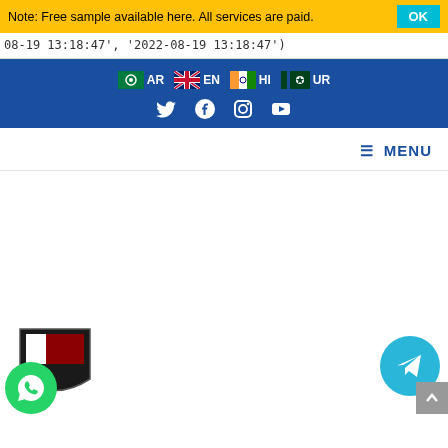Note: Free sample available here. All services are paid.
08-19 13:18:47', '2022-08-19 13:18:47')
[Figure (screenshot): Blue navigation banner with language selectors (AR, EN, HI, UR) with flag icons and social media icons (Twitter, Facebook, Instagram, YouTube)]
[Figure (screenshot): Menu bar with hamburger icon and MENU text]
[Figure (logo): Shield logo/badge in bottom left]
[Figure (screenshot): Green WhatsApp circular button]
[Figure (screenshot): Teal Telegram circular button in bottom right]